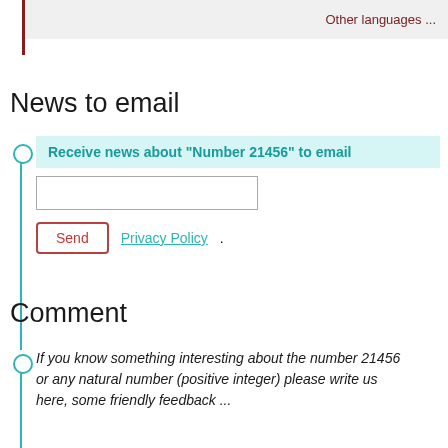Other languages ...
News to email
Receive news about "Number 21456" to email
Send  Privacy Policy.
Comment
If you know something interesting about the number 21456 or any natural number (positive integer) please write us here, some friendly feedback ...